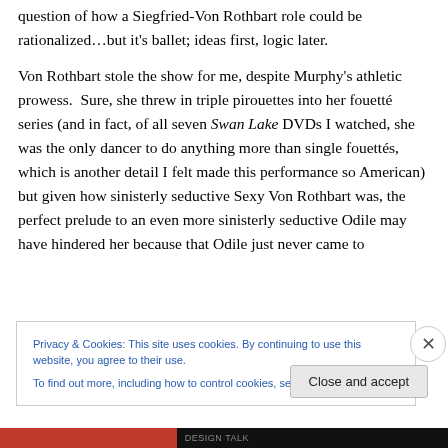question of how a Siegfried-Von Rothbart role could be rationalized…but it's ballet; ideas first, logic later.
Von Rothbart stole the show for me, despite Murphy's athletic prowess.  Sure, she threw in triple pirouettes into her fouetté series (and in fact, of all seven Swan Lake DVDs I watched, she was the only dancer to do anything more than single fouettés, which is another detail I felt made this performance so American) but given how sinisterly seductive Sexy Von Rothbart was, the perfect prelude to an even more sinisterly seductive Odile may have hindered her because that Odile just never came to
Privacy & Cookies: This site uses cookies. By continuing to use this website, you agree to their use.
To find out more, including how to control cookies, see here: Cookie Policy
Close and accept